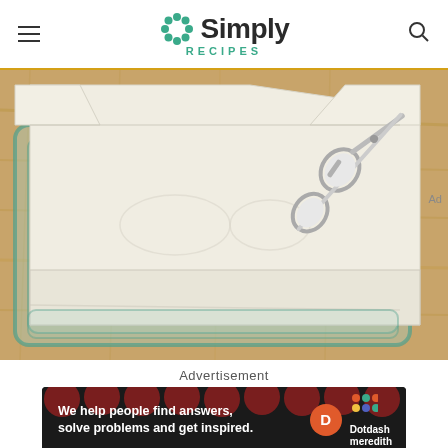Simply Recipes
[Figure (photo): Overhead view of a glass baking dish lined with parchment paper on a wooden cutting board, with scissors visible to the right]
Advertisement
[Figure (infographic): Dotdash Meredith advertisement banner with dark background and red polka dots, text: We help people find answers, solve problems and get inspired. Ad label in right margin.]